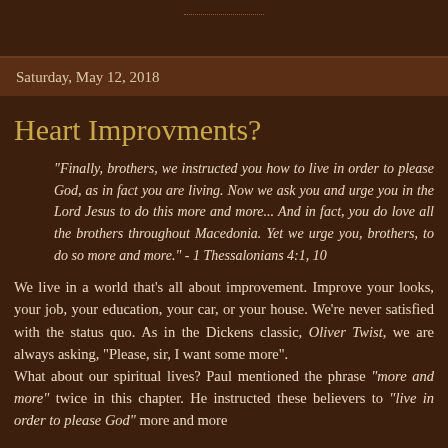Saturday, May 12, 2018
Heart Improvments?
"Finally, brothers, we instructed you how to live in order to please God, as in fact you are living. Now we ask you and urge you in the Lord Jesus to do this more and more... And in fact, you do love all the brothers throughout Macedonia. Yet we urge you, brothers, to do so more and more." - 1 Thessalonians 4:1, 10
We live in a world that's all about improvement. Improve your looks, your job, your education, your car, or your house. We're never satisfied with the status quo. As in the Dickens classic, Oliver Twist, we are always asking, "Please, sir, I want some more".
What about our spiritual lives? Paul mentioned the phrase "more and more" twice in this chapter. He instructed these believers to "live in order to please God" more and more